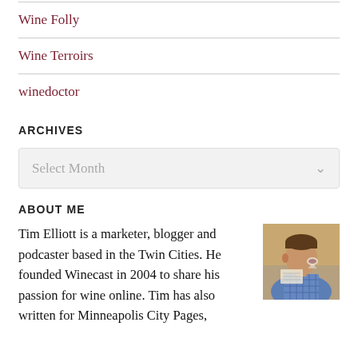Wine Folly
Wine Terroirs
winedoctor
ARCHIVES
Select Month
ABOUT ME
Tim Elliott is a marketer, blogger and podcaster based in the Twin Cities. He founded Winecast in 2004 to share his passion for wine online. Tim has also written for Minneapolis City Pages,
[Figure (photo): Photo of Tim Elliott, a man in a blue checked shirt drinking from a wine glass while looking at papers]